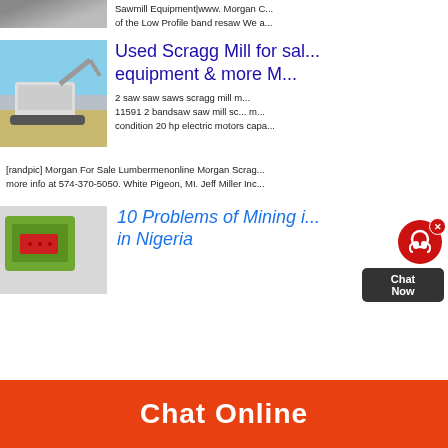[Figure (photo): Sawmill or quarry equipment photo (top, partial, cropped)]
Sawmill Equipment|www. Morgan C... of the Low Profile band resaw We a... Manufactures notchers, scragg mills... sizers, and dusters The original man...
[Figure (photo): Heavy construction/mining machine (excavator and crusher) on a dirt site]
Used Scragg Mill for sal... equipment & more M...
2 saw saw saws scragg mill m... 11591 2 bandsaw saw mill sc... m... condition 20 hp electric motors capa...
[randpic] Morgan For Sale Lumbermenonline Morgan Scrag... more info at 574-370-5050. White Pigeon, MI. Jeff Miller Inc...
[Figure (photo): Green industrial screening or processing equipment in a warehouse]
10 Problems of Mining i... in Nigeria
Chat Online